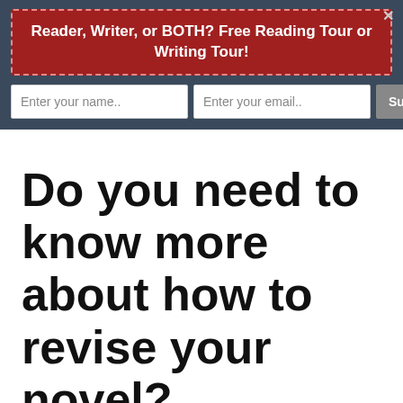[Figure (screenshot): Newsletter signup banner with red background and dashed border reading 'Reader, Writer, or BOTH? Free Reading Tour or Writing Tour!' with name/email input fields and Subscribe Now button on dark blue background]
Do you need to know more about how to revise your novel?
Author: Holly
Published: August 16, 2009
364 comments
[Figure (other): Support me button with Ko-fi cup icon in orange rounded rectangle]
My daughter took Think Sideways. Wrote her first